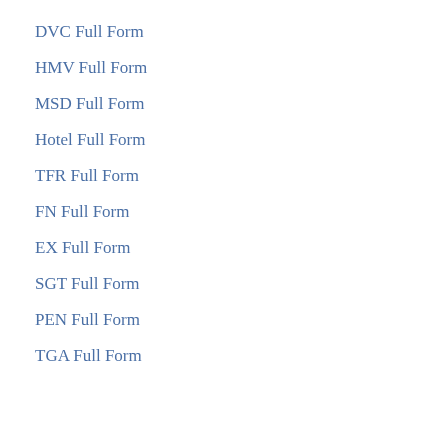DVC Full Form
HMV Full Form
MSD Full Form
Hotel Full Form
TFR Full Form
FN Full Form
EX Full Form
SGT Full Form
PEN Full Form
TGA Full Form